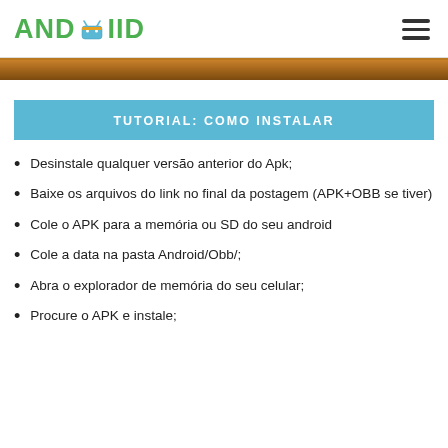ANDRoiid
[Figure (photo): Brown wooden strip image banner at top of content area]
TUTORIAL: COMO INSTALAR
Desinstale qualquer versão anterior do Apk;
Baixe os arquivos do link no final da postagem (APK+OBB se tiver)
Cole o APK para a memória ou SD do seu android
Cole a data na pasta Android/Obb/;
Abra o explorador de memória do seu celular;
Procure o APK e instale;